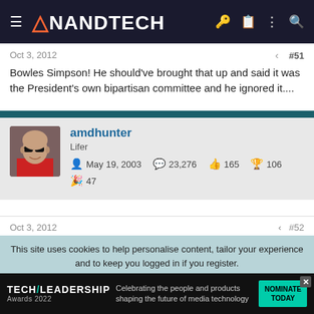AnandTech
Oct 3, 2012	#51
Bowles Simpson! He should've brought that up and said it was the President's own bipartisan committee and he ignored it....
amdhunter
Lifer
May 19, 2003  23,276  165  106  47
Oct 3, 2012	#52
This site uses cookies to help personalise content, tailor your experience and to keep you logged in if you register.
By continuing to use this site, you are consenting to our use of cookies.
[Figure (advertisement): Tech Leadership Awards 2022 advertisement banner with nomination CTA]